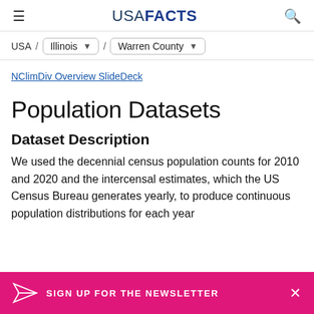USA FACTS
USA / Illinois / Warren County
NClimDiv Overview SlideDeck
Population Datasets
Dataset Description
We used the decennial census population counts for 2010 and 2020 and the intercensal estimates, which the US Census Bureau generates yearly, to produce continuous population distributions for each year
SIGN UP FOR THE NEWSLETTER